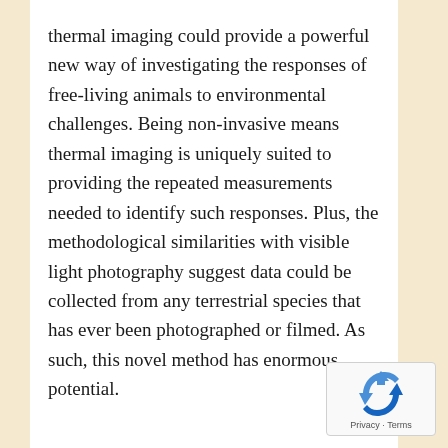thermal imaging could provide a powerful new way of investigating the responses of free-living animals to environmental challenges. Being non-invasive means thermal imaging is uniquely suited to providing the repeated measurements needed to identify such responses. Plus, the methodological similarities with visible light photography suggest data could be collected from any terrestrial species that has ever been photographed or filmed. As such, this novel method has enormous potential.
[Figure (other): Google reCAPTCHA badge showing recycling arrow icon with 'Privacy - Terms' text]